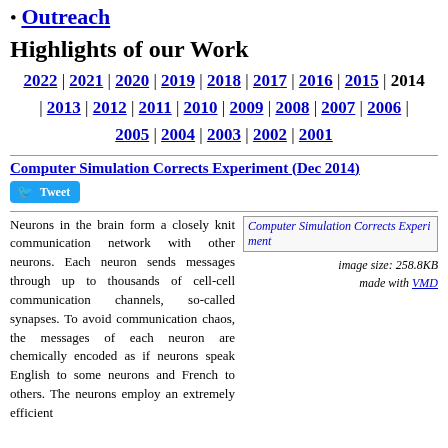Outreach
Highlights of our Work
2022 | 2021 | 2020 | 2019 | 2018 | 2017 | 2016 | 2015 | 2014 | 2013 | 2012 | 2011 | 2010 | 2009 | 2008 | 2007 | 2006 | 2005 | 2004 | 2003 | 2002 | 2001
Computer Simulation Corrects Experiment (Dec 2014)
[Figure (other): Computer Simulation Corrects Experiment image, image size: 258.8KB, made with VMD]
Neurons in the brain form a closely knit communication network with other neurons. Each neuron sends messages through up to thousands of cell-cell communication channels, so-called synapses. To avoid communication chaos, the messages of each neuron are chemically encoded as if neurons speak English to some neurons and French to others. The neurons employ an extremely efficient